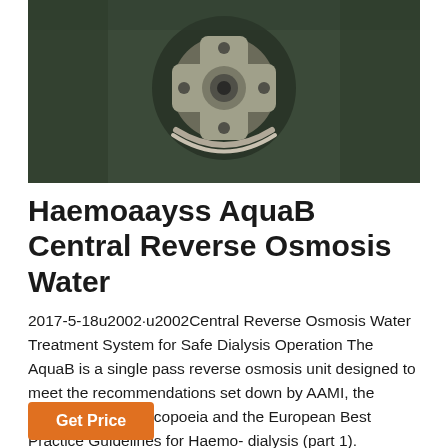[Figure (photo): Close-up photo of a mechanical/industrial component — appears to be a valve or pump fitting with metal parts, set against a dark green/grey background. The component has a cross-shaped or star-shaped fitting visible.]
Haemoaayss AquaB Central Reverse Osmosis Water
2017-5-18u2002·u2002Central Reverse Osmosis Water Treatment System for Safe Dialysis Operation The AquaB is a single pass reverse osmosis unit designed to meet the recommendations set down by AAMI, the European Pharmacopoeia and the European Best Practice Guidelines for Haemo- dialysis (part 1). Microbiological purity o An integrated aseptic sample point in the perme-
Get Price